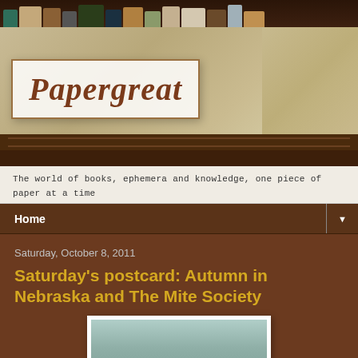[Figure (photo): Papergreat blog header image showing the blog name 'Papergreat' in stylized serif font on a decorative background with books spines visible at top. Tagline: 'The world of books, ephemera and knowledge, one piece of paper at a time']
The world of books, ephemera and knowledge, one piece of paper at a time
Home ▼
Saturday, October 8, 2011
Saturday's postcard: Autumn in Nebraska and The Mite Society
[Figure (photo): Partial view of a postcard with a light blue/teal color, shown at the bottom of the page]